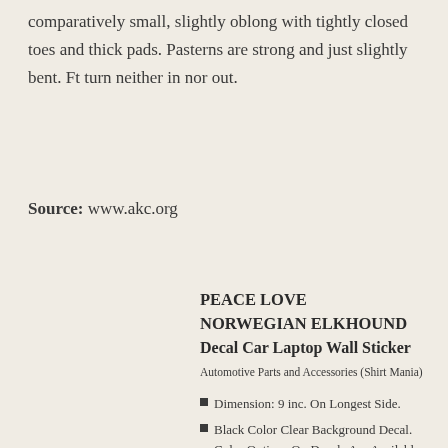comparatively small, slightly oblong with tightly closed toes and thick pads. Pasterns are strong and just slightly bent. Ft turn neither in nor out.
Source: www.akc.org
PEACE LOVE NORWEGIAN ELKHOUND Decal Car Laptop Wall Sticker
Automotive Parts and Accessories (Shirt Mania)
Dimension: 9 inc. On Longest Side.
Black Color Clear Background Decal. Color Options On Decals Are Available If Needed. Other